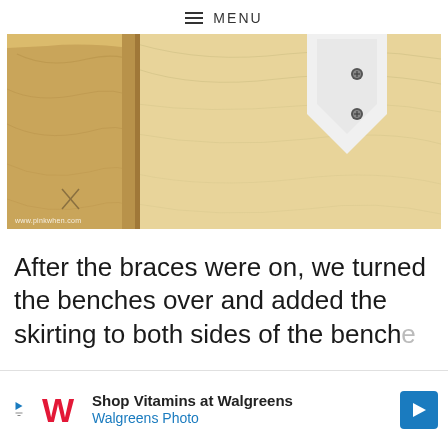≡ MENU
[Figure (photo): Close-up photograph of wooden bench parts being assembled with metal corner braces on a light wood surface. Watermark: www.pinkwhen.com]
After the braces were on, we turned the benches over and added the skirting to both sides of the benches.
[Figure (other): Advertisement banner: Shop Vitamins at Walgreens — Walgreens Photo, with Walgreens logo and blue arrow icon]